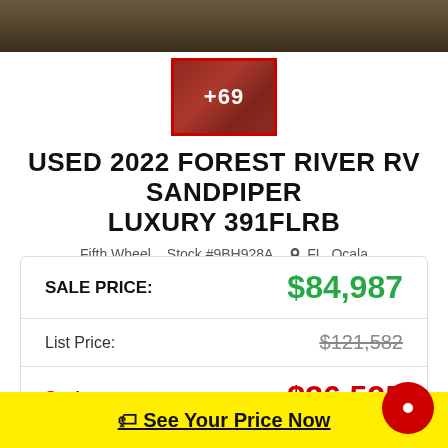[Figure (photo): Top banner showing outdoor scenic background (dark brown/tan terrain)]
[Figure (photo): Thumbnail image of RV interior with red overlay and '+69' photo count indicator, bordered in red]
USED 2022 FOREST RIVER RV SANDPIPER LUXURY 391FLRB
Fifth Wheel   Stock #9BH928A   FL, Ocala
| SALE PRICE: | $84,987 |
| List Price: | $121,582 |
| Savings: | $36,595 |
See Your Price Now